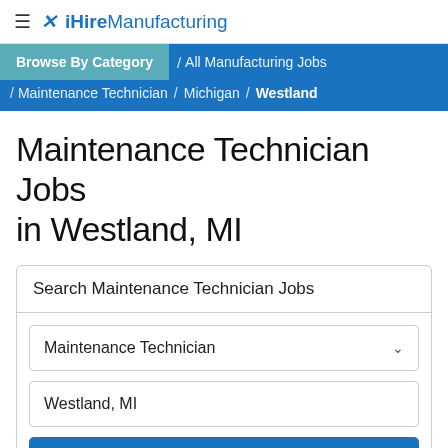≡ ✕ iHireManufacturing
Browse By Category / All Manufacturing Jobs / Maintenance Technician / Michigan / Westland
Maintenance Technician Jobs in Westland, MI
Search Maintenance Technician Jobs
Maintenance Technician [dropdown]
Westland, MI [input]
Search [button]